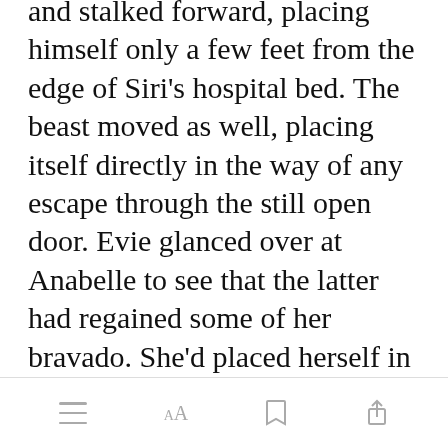and stalked forward, placing himself only a few feet from the edge of Siri's hospital bed. The beast moved as well, placing itself directly in the way of any escape through the still open door. Evie glanced over at Anabelle to see that the latter had regained some of her bravado. She'd placed herself in front of the closet that hid their little brothers.
[Figure (screenshot): Green 'Open in app' button]
[Figure (screenshot): App bottom toolbar with menu, font, bookmark, and share icons]